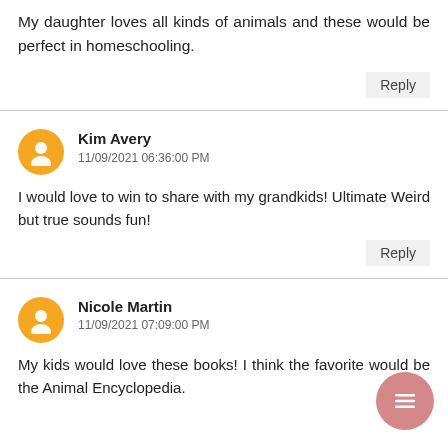My daughter loves all kinds of animals and these would be perfect in homeschooling.
Reply
Kim Avery
11/09/2021 06:36:00 PM
I would love to win to share with my grandkids! Ultimate Weird but true sounds fun!
Reply
Nicole Martin
11/09/2021 07:09:00 PM
My kids would love these books! I think the favorite would be the Animal Encyclopedia.